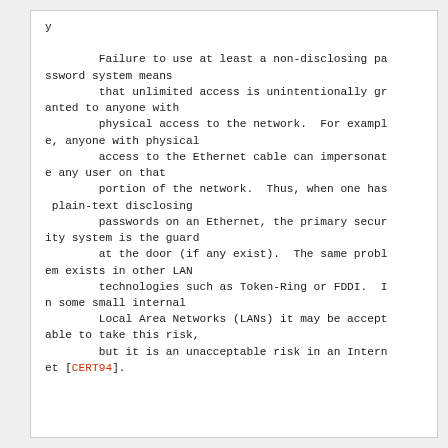Failure to use at least a non-disclosing password system means that unlimited access is unintentionally granted to anyone with physical access to the network.  For example, anyone with physical access to the Ethernet cable can impersonate any user on that portion of the network.  Thus, when one has plain-text disclosing passwords on an Ethernet, the primary security system is the guard at the door (if any exist).  The same problem exists in other LAN technologies such as Token-Ring or FDDI.  In some small internal Local Area Networks (LANs) it may be acceptable to take this risk, but it is an unacceptable risk in an Internet [CERT94].